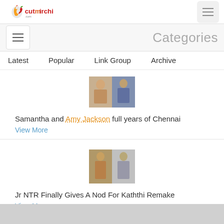cutmirchi.com
Categories
Latest | Popular | Link Group | Archive
[Figure (photo): Two women collage thumbnail for Samantha and Amy Jackson Chennai article]
Samantha and Amy Jackson full years of Chennai
View More
[Figure (photo): Two men collage thumbnail for Jr NTR Kaththi Remake article]
Jr NTR Finally Gives A Nod For Kaththi Remake
View More